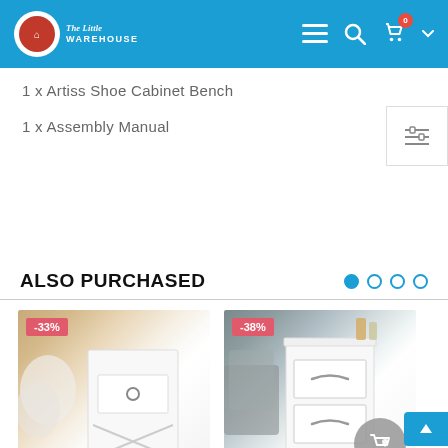The Little Warehouse — navigation bar with logo, menu, search, cart (0 items)
1 x Artiss Shoe Cabinet Bench
1 x Assembly Manual
ALSO PURCHASED
[Figure (photo): Product photo of a white nightstand/bedside table with one drawer and X-frame bottom shelf, shown in a bedroom setting. Discount badge: -33%]
[Figure (photo): Product photo of a white bedside table with two drawers, shown next to a grey upholstered bed with bottles/candles on top. Discount badge: -38%]